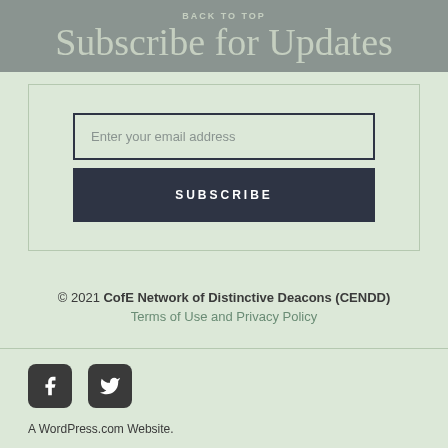BACK TO TOP
Subscribe for Updates
Enter your email address
SUBSCRIBE
© 2021 CofE Network of Distinctive Deacons (CENDD)
Terms of Use and Privacy Policy
[Figure (other): Facebook and Twitter social media icons]
A WordPress.com Website.